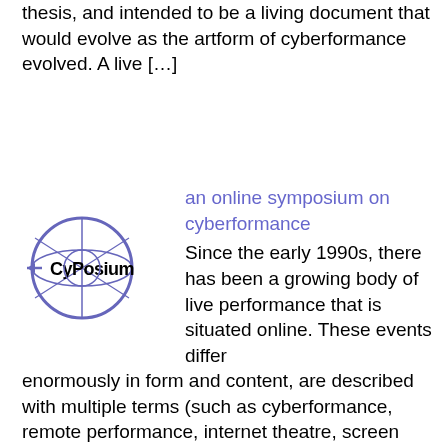thesis, and intended to be a living document that would evolve as the artform of cyberformance evolved. A live [...]
[Figure (logo): CyPosium logo: a circular globe-like icon with grid lines and an arrow, with the text 'CyPosium' in bold stylized font]
an online symposium on cyberformance
Since the early 1990s, there has been a growing body of live performance that is situated online. These events differ enormously in form and content, are described with multiple terms (such as cyberformance, remote performance, internet theatre, screen stage, computer-mediated performance), are staged in a variety of online environments (such as text-based and graphical chat [...]